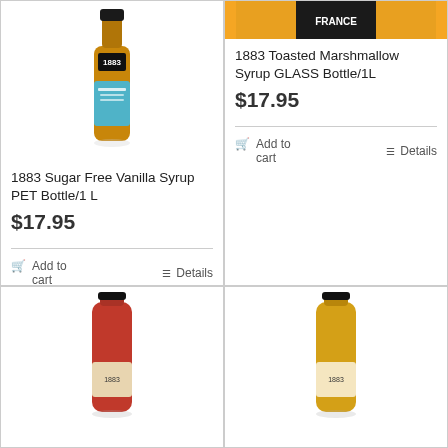[Figure (photo): 1883 Sugar Free Vanilla Syrup PET Bottle/1L product bottle image]
1883 Sugar Free Vanilla Syrup PET Bottle/1 L
$17.95
Add to cart
Details
[Figure (photo): 1883 Toasted Marshmallow Syrup GLASS Bottle/1L product top image cropped]
1883 Toasted Marshmallow Syrup GLASS Bottle/1L
$17.95
Add to cart
Details
[Figure (photo): 1883 syrup bottle bottom row left - reddish/amber colored syrup bottle]
[Figure (photo): 1883 syrup bottle bottom row right - amber/golden colored syrup bottle]